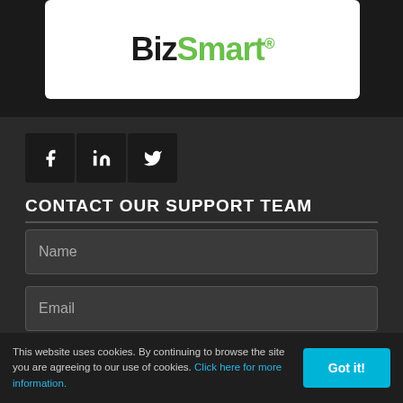[Figure (logo): BizSmart logo with white background, 'Biz' in dark and 'Smart' in green with registered trademark symbol]
[Figure (infographic): Social media icons: Facebook (f), LinkedIn (in), Twitter (bird icon) on dark background]
CONTACT OUR SUPPORT TEAM
Name
Email
Your message...
This website uses cookies. By continuing to browse the site you are agreeing to our use of cookies. Click here for more information.